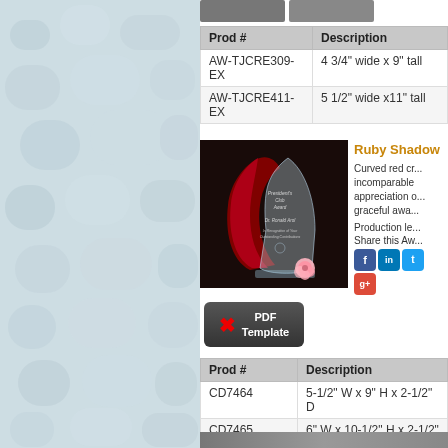[Figure (photo): Left panel with light blue/grey mottled texture background]
[Figure (photo): Small partial product photos at top of right panel]
| Prod # | Description |
| --- | --- |
| AW-TJCRE309-EX | 4 3/4" wide x 9" tall |
| AW-TJCRE411-EX | 5 1/2" wide x11" tall |
Ruby Shadow
Curved red crystal with incomparable appreciation and graceful award.
Production le...
Share this Aw...
[Figure (photo): Ruby Shadow crystal award with red curved glass piece and clear crystal shield, with pink rose at base, on dark background]
[Figure (other): PDF Template button with Adobe PDF icon]
| Prod # | Description |
| --- | --- |
| CD7464 | 5-1/2" W x 9" H x 2-1/2" D |
| CD7465 | 6" W x 10-1/2" H x 2-1/2" D |
[Figure (photo): Partial product image strip at bottom]